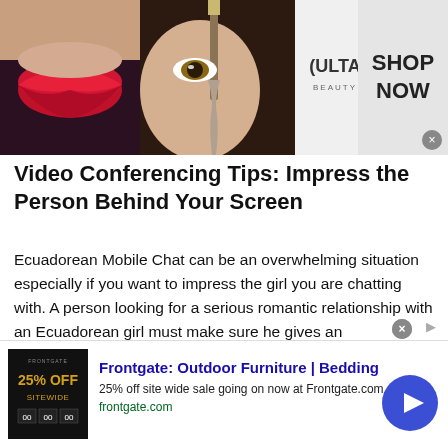[Figure (photo): Top banner advertisement for ULTA Beauty showing makeup images (lips, brush, eyes), ULTA logo, and 'SHOP NOW' call to action]
Video Conferencing Tips: Impress the Person Behind Your Screen
Ecuadorean Mobile Chat can be an overwhelming situation especially if you want to impress the girl you are chatting with. A person looking for a serious romantic relationship with an Ecuadorean girl must make sure he gives an unforgettable first impression. But how do you impress a girl behind the screen? Some tips for video conferencing include:
[Figure (screenshot): Bottom advertisement for Frontgate: Outdoor Furniture | Bedding. Shows 25% off sitewide sale. URL: frontgate.com. Includes thumbnail image with gold '25% OFF SITEWIDE' text on dark background, blue arrow button.]